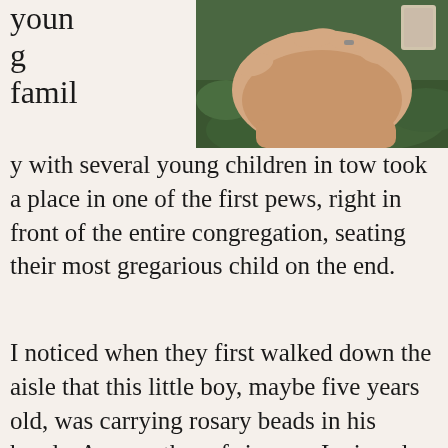[Figure (photo): A close-up photograph of a hand held open, palm up, outdoors on grass, wearing a ring. Appears to be holding something small.]
young family with several young children in tow took a place in one of the first pews, right in front of the entire congregation, seating their most gregarious child on the end.
I noticed when they first walked down the aisle that this little boy, maybe five years old, was carrying rosary beads in his hands. As a mother of six sons I winced a bit, remembering even rosary beads can be an unintended weapon in the hands of a young child.
At first he was fine, running the beads in and out of his hands as if he was actually praying.